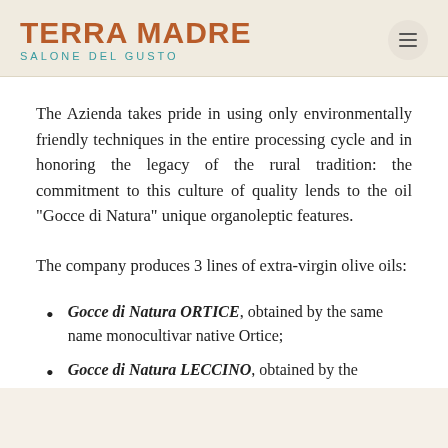TERRA MADRE SALONE DEL GUSTO
The Azienda takes pride in using only environmentally friendly techniques in the entire processing cycle and in honoring the legacy of the rural tradition: the commitment to this culture of quality lends to the oil “Gocce di Natura” unique organoleptic features.
The company produces 3 lines of extra-virgin olive oils:
Gocce di Natura ORTICE, obtained by the same name monocultivar native Ortice;
Gocce di Natura LECCINO, obtained by the